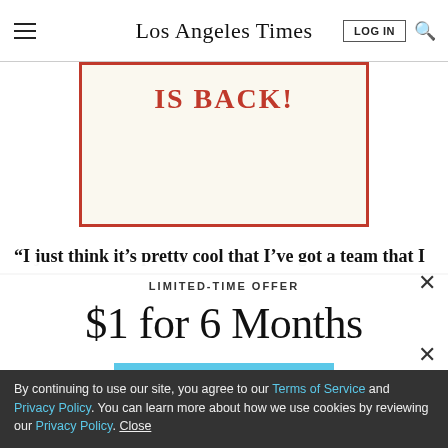Los Angeles Times
[Figure (other): Advertisement banner with red border on cream background reading 'IS BACK!' in bold red serif text]
“I just think it’s pretty cool that I’ve got a team that I
LIMITED-TIME OFFER
$1 for 6 Months
SUBSCRIBE NOW
By continuing to use our site, you agree to our Terms of Service and Privacy Policy. You can learn more about how we use cookies by reviewing our Privacy Policy. Close